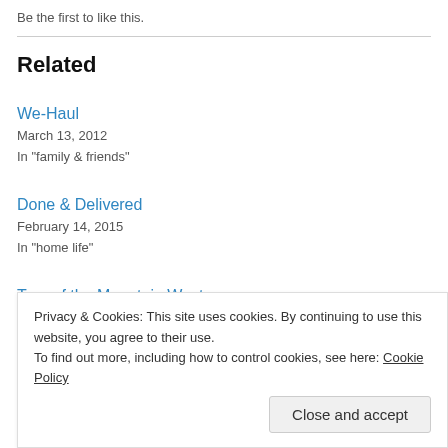Be the first to like this.
Related
We-Haul
March 13, 2012
In "family & friends"
Done & Delivered
February 14, 2015
In "home life"
Tour of the Mountain West
October 29, 2013
Privacy & Cookies: This site uses cookies. By continuing to use this website, you agree to their use.
To find out more, including how to control cookies, see here: Cookie Policy
Close and accept